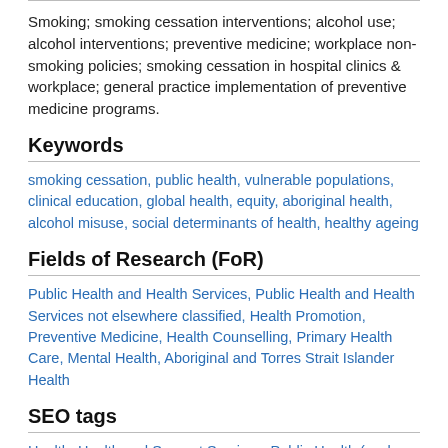Smoking; smoking cessation interventions; alcohol use; alcohol interventions; preventive medicine; workplace non-smoking policies; smoking cessation in hospital clinics & workplace; general practice implementation of preventive medicine programs.
Keywords
smoking cessation, public health, vulnerable populations, clinical education, global health, equity, aboriginal health, alcohol misuse, social determinants of health, healthy ageing
Fields of Research (FoR)
Public Health and Health Services, Public Health and Health Services not elsewhere classified, Health Promotion, Preventive Medicine, Health Counselling, Primary Health Care, Mental Health, Aboriginal and Torres Strait Islander Health
SEO tags
Health, Health and Support Services, Public Health (excl. Specific Population Health), Other Health, Specific Population Health (excl. Indigenous Health), Indigenous Health, Syllabus and Curriculum Development